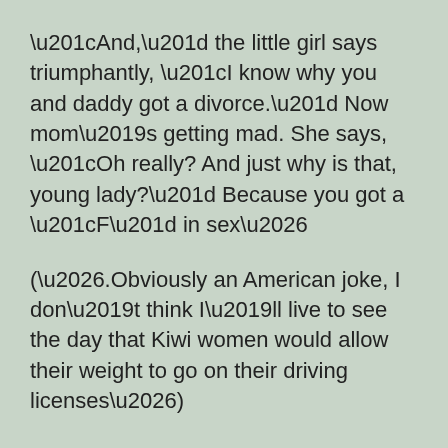“And,” the little girl says triumphantly, “I know why you and daddy got a divorce.” Now mom’s getting mad. She says, “Oh really? And just why is that, young lady?” Because you got a “F” in sex…
(….Obviously an American joke, I don’t think I’ll live to see the day that Kiwi women would allow their weight to go on their driving licenses…)